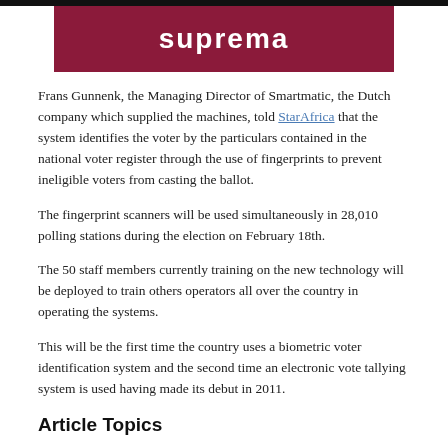[Figure (logo): Suprema logo — white lowercase text on dark red/maroon background]
Frans Gunnenk, the Managing Director of Smartmatic, the Dutch company which supplied the machines, told StarAfrica that the system identifies the voter by the particulars contained in the national voter register through the use of fingerprints to prevent ineligible voters from casting the ballot.
The fingerprint scanners will be used simultaneously in 28,010 polling stations during the election on February 18th.
The 50 staff members currently training on the new technology will be deployed to train others operators all over the country in operating the systems.
This will be the first time the country uses a biometric voter identification system and the second time an electronic vote tallying system is used having made its debut in 2011.
Article Topics